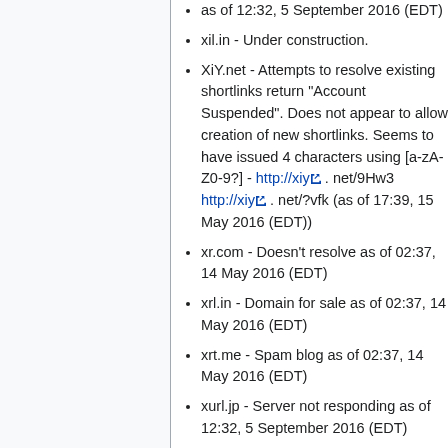as of 12:32, 5 September 2016 (EDT)
xil.in - Under construction.
XiY.net - Attempts to resolve existing shortlinks return "Account Suspended". Does not appear to allow creation of new shortlinks. Seems to have issued 4 characters using [a-zA-Z0-9?] - http://xiy . net/9Hw3 http://xiy . net/?vfk (as of 17:39, 15 May 2016 (EDT))
xr.com - Doesn't resolve as of 02:37, 14 May 2016 (EDT)
xrl.in - Domain for sale as of 02:37, 14 May 2016 (EDT)
xrt.me - Spam blog as of 02:37, 14 May 2016 (EDT)
xurl.jp - Server not responding as of 12:32, 5 September 2016 (EDT)
xym.kr - Gibberish (?) Korean text